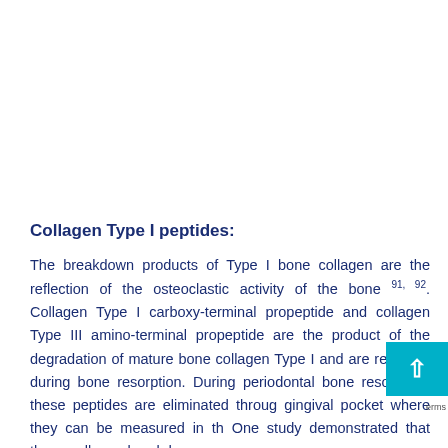Collagen Type I peptides:
The breakdown products of Type I bone collagen are the reflection of the osteoclastic activity of the bone 91, 92. Collagen Type I carboxy-terminal propeptide and collagen Type III amino-terminal propeptide are the product of the degradation of mature bone collagen Type I and are released during bone resorption. During periodontal bone resorption, these peptides are eliminated through gingival pocket where they can be measured in th One study demonstrated that these collagen breakdown